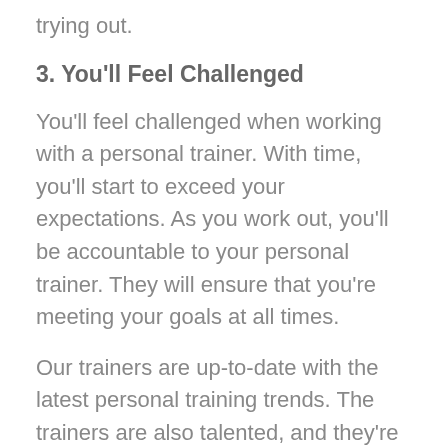trying out.
3. You'll Feel Challenged
You'll feel challenged when working with a personal trainer. With time, you'll start to exceed your expectations. As you work out, you'll be accountable to your personal trainer. They will ensure that you're meeting your goals at all times.
Our trainers are up-to-date with the latest personal training trends. The trainers are also talented, and they're willing to share some helpful concepts to ensure you get the most out of everything, and you can lead a happy life. The trainers are always